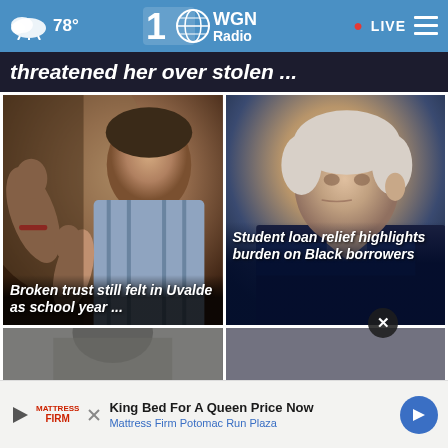78° WGN Radio 100 · LIVE
threatened her over stolen ...
[Figure (photo): Man in blue plaid shirt gesturing with hands, speaking expressively]
Broken trust still felt in Uvalde as school year ...
[Figure (photo): Older man with white/gray hair looking to the side, in dark setting]
Student loan relief highlights burden on Black borrowers
[Figure (photo): Partial photo at bottom left]
[Figure (photo): Partial photo at bottom right]
King Bed For A Queen Price Now
Mattress Firm Potomac Run Plaza